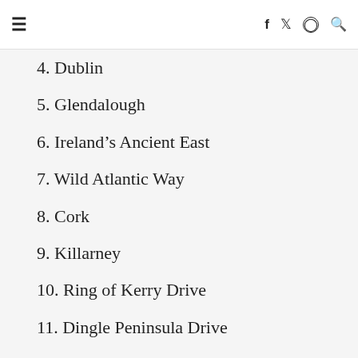≡  f  🐦  ⊙  🔍
4. Dublin
5. Glendalough
6. Ireland's Ancient East
7. Wild Atlantic Way
8. Cork
9. Killarney
10. Ring of Kerry Drive
11. Dingle Peninsula Drive
12. Cliffs of Moher
13. Limerick and County Clare
14. Galway
15. Ceide Fields and Sligo
16. Donegal
17. Northern Ireland